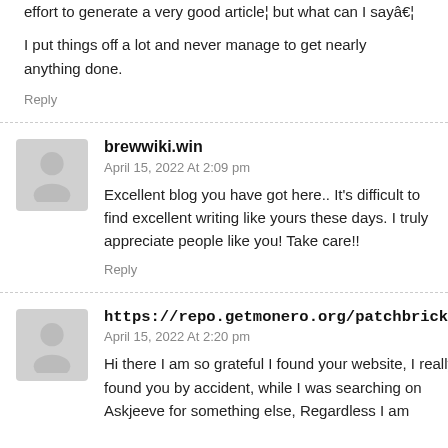effort to generate a very good article¦ but what can I sayâ€¦
I put things off a lot and never manage to get nearly anything done.
Reply
brewwiki.win
April 15, 2022 At 2:09 pm
Excellent blog you have got here.. It's difficult to find excellent writing like yours these days. I truly appreciate people like you! Take care!!
Reply
https://repo.getmonero.org/patchbrick4
April 15, 2022 At 2:20 pm
Hi there I am so grateful I found your website, I really found you by accident, while I was searching on Askjeeve for something else, Regardless I am